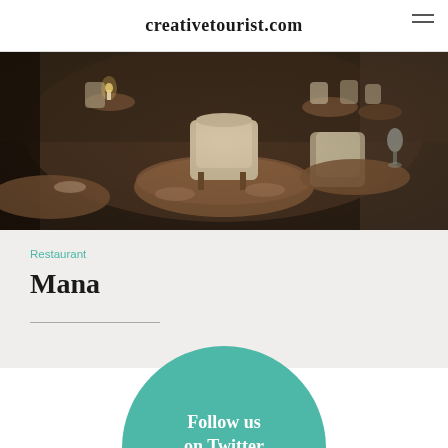creativetourist.com
[Figure (photo): Interior of Mana restaurant showing round wooden tables, beige upholstered chairs, candlelight, dark atmospheric dining room]
Restaurant
Mana
[Figure (infographic): Teal circular badge with white text: Follow us on Twitter, with a Twitter bird icon]